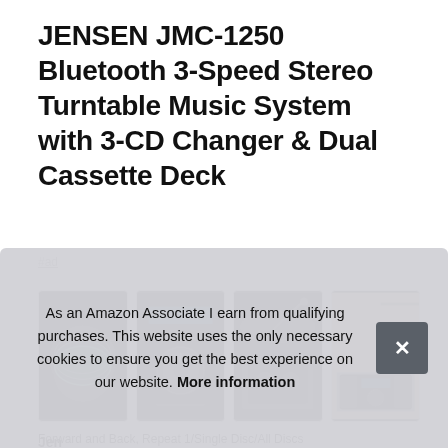JENSEN JMC-1250 Bluetooth 3-Speed Stereo Turntable Music System with 3-CD Changer & Dual Cassette Deck
#ad
[Figure (photo): Four product images of the JENSEN JMC-1250 music system showing CD changer, front panel controls, turntable, and full system lifestyle shot]
Jensen JMC-1250 Bluetooth 3-Speed Stereo Turntable Music System with 3-CD Changer & Dual Cassette Deck – fully functional stereo music center. This kind of system provides everything to deliver the best listening experience. Forward and Back, Repeat 1/Single Disc/All Discs
As an Amazon Associate I earn from qualifying purchases. This website uses the only necessary cookies to ensure you get the best experience on our website. More information